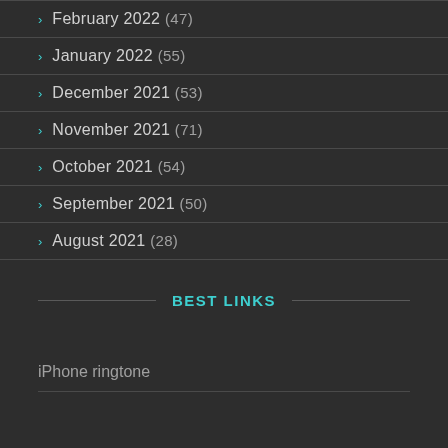February 2022 (47)
January 2022 (55)
December 2021 (53)
November 2021 (71)
October 2021 (54)
September 2021 (50)
August 2021 (28)
BEST LINKS
iPhone ringtone